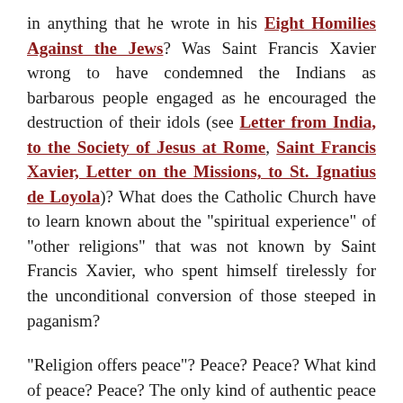in anything that he wrote in his Eight Homilies Against the Jews? Was Saint Francis Xavier wrong to have condemned the Indians as barbarous people engaged as he encouraged the destruction of their idols (see Letter from India, to the Society of Jesus at Rome, Saint Francis Xavier, Letter on the Missions, to St. Ignatius de Loyola)? What does the Catholic Church have to learn known about the "spiritual experience" of "other religions" that was not known by Saint Francis Xavier, who spent himself tirelessly for the unconditional conversion of those steeped in paganism?
"Religion offers peace"? Peace? Peace? What kind of peace? Peace? The only kind of authentic peace is that of Our Blessed Lord